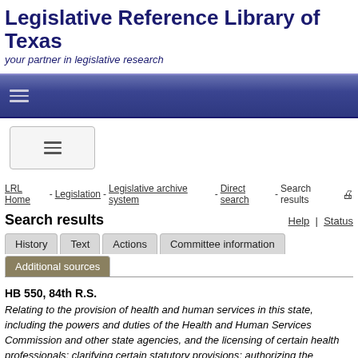Legislative Reference Library of Texas
your partner in legislative research
[Figure (screenshot): Blue navigation bar with hamburger/menu icon]
[Figure (screenshot): Mobile menu button with three horizontal lines]
LRL Home - Legislation - Legislative archive system - Direct search - Search results
Search results
Help | Status
History | Text | Actions | Committee information | Additional sources
HB 550, 84th R.S.
Relating to the provision of health and human services in this state, including the powers and duties of the Health and Human Services Commission and other state agencies, and the licensing of certain health professionals; clarifying certain statutory provisions; authorizing the imposition of fees.